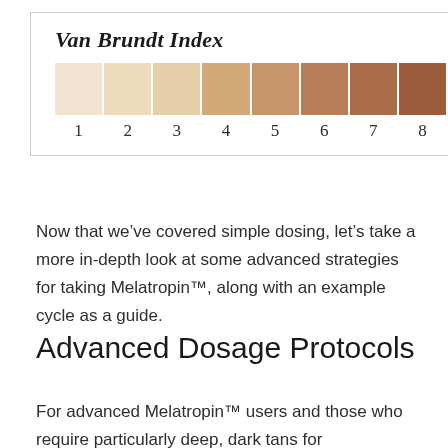[Figure (infographic): Van Brundt Index skin tone scale showing 8 color swatches ranging from very light (cream/ivory) numbered 1 to medium-dark brown numbered 8, with labels below each swatch.]
Now that we’ve covered simple dosing, let’s take a more in-depth look at some advanced strategies for taking Melatropin™, along with an example cycle as a guide.
Advanced Dosage Protocols
For advanced Melatropin™ users and those who require particularly deep, dark tans for professional